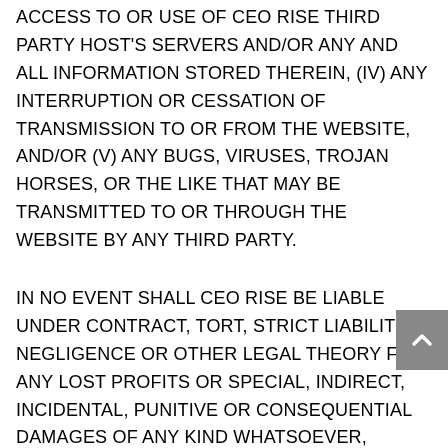ACCESS TO OR USE OF CEO RISE THIRD PARTY HOST'S SERVERS AND/OR ANY AND ALL INFORMATION STORED THEREIN, (IV) ANY INTERRUPTION OR CESSATION OF TRANSMISSION TO OR FROM THE WEBSITE, AND/OR (V) ANY BUGS, VIRUSES, TROJAN HORSES, OR THE LIKE THAT MAY BE TRANSMITTED TO OR THROUGH THE WEBSITE BY ANY THIRD PARTY.
IN NO EVENT SHALL CEO Rise BE LIABLE UNDER CONTRACT, TORT, STRICT LIABILITY, NEGLIGENCE OR OTHER LEGAL THEORY FOR ANY LOST PROFITS OR SPECIAL, INDIRECT, INCIDENTAL, PUNITIVE OR CONSEQUENTIAL DAMAGES OF ANY KIND WHATSOEVER, HOWEVER ARISING. THE FOREGOING LIMITATION OF LIABILITY SHALL APPLY TO THE